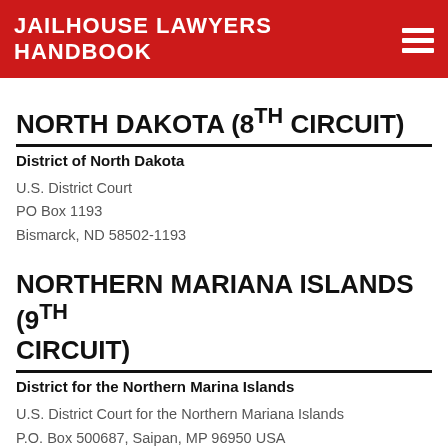JAILHOUSE LAWYERS HANDBOOK
NORTH DAKOTA (8TH CIRCUIT)
District of North Dakota
U.S. District Court
PO Box 1193
Bismarck, ND 58502-1193
NORTHERN MARIANA ISLANDS (9TH CIRCUIT)
District for the Northern Marina Islands
U.S. District Court for the Northern Mariana Islands
P.O. Box 500687, Saipan, MP 96950 USA